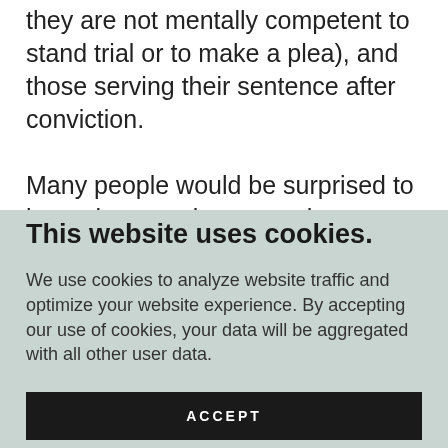they are not mentally competent to stand trial or to make a plea), and those serving their sentence after conviction.
Many people would be surprised to learn that people across the state are serving pretrial jail time for low-level, nonviolent
This website uses cookies.
We use cookies to analyze website traffic and optimize your website experience. By accepting our use of cookies, your data will be aggregated with all other user data.
ACCEPT